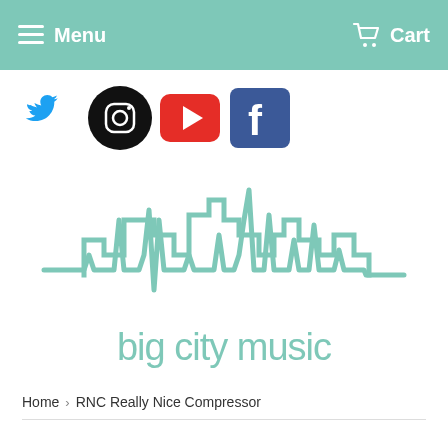Menu  Cart
[Figure (logo): Social media icons row: Twitter (blue bird), Instagram (black circle), YouTube (red square with play button), Facebook (blue square with f)]
[Figure (logo): Big City Music logo: teal/mint colored ECG/heartbeat waveform combined with city skyline silhouette above the text 'big city music' in teal lowercase letters]
Home › RNC Really Nice Compressor